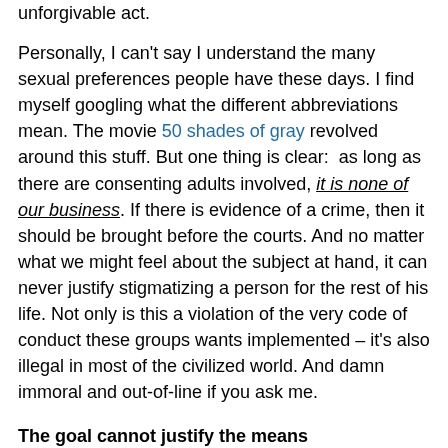unforgivable act.
Personally, I can't say I understand the many sexual preferences people have these days. I find myself googling what the different abbreviations mean. The movie 50 shades of gray revolved around this stuff. But one thing is clear:  as long as there are consenting adults involved, it is none of our business. If there is evidence of a crime, then it should be brought before the courts. And no matter what we might feel about the subject at hand, it can never justify stigmatizing a person for the rest of his life. Not only is this a violation of the very code of conduct these groups wants implemented – it's also illegal in most of the civilized world. And damn immoral and out-of-line if you ask me.
The goal cannot justify the means
The irony in all of this, is that the accusation came from